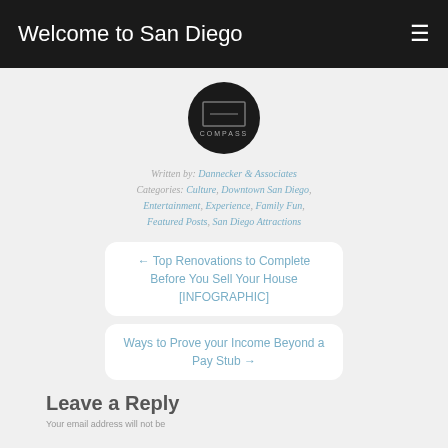Welcome to San Diego
[Figure (logo): Compass real estate circular logo with dark background and 'COMPASS' text]
Written by: Dannecker & Associates
Categories: Culture, Downtown San Diego, Entertainment, Experience, Family Fun, Featured Posts, San Diego Attractions
← Top Renovations to Complete Before You Sell Your House [INFOGRAPHIC]
Ways to Prove your Income Beyond a Pay Stub →
Leave a Reply
Your email address will not be